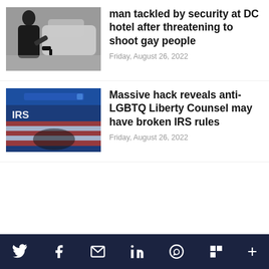[Figure (photo): Person holding a gun outdoors near a car]
man tackled by security at DC hotel after threatening to shoot gay people
Friday, August 26, 2022
[Figure (photo): IRS website on a screen with American flag in background]
Massive hack reveals anti-LGBTQ Liberty Counsel may have broken IRS rules
Friday, August 26, 2022
Twitter Facebook Email LinkedIn WhatsApp Flipboard More